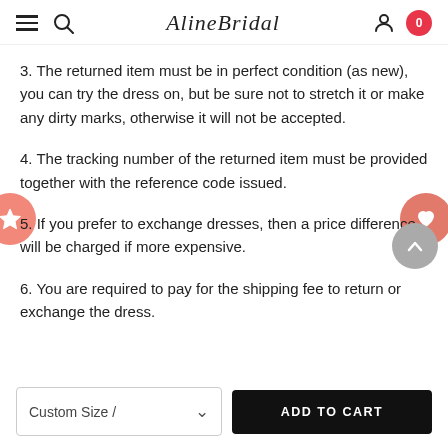AlineBridal
3. The returned item must be in perfect condition (as new), you can try the dress on, but be sure not to stretch it or make any dirty marks, otherwise it will not be accepted.
4. The tracking number of the returned item must be provided together with the reference code issued.
5. If you prefer to exchange dresses, then a price difference will be charged if more expensive.
6. You are required to pay for the shipping fee to return or exchange the dress.